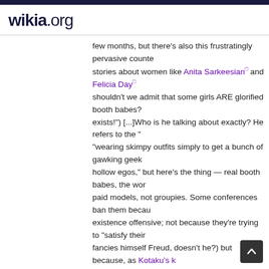wikia.org
few months, but there's also this frustratingly pervasive counter stories about women like Anita Sarkeesian and Felicia Day shouldn't we admit that some girls ARE glorified booth babes? exists!") [...]Who is he talking about exactly? He refers to the "wearing skimpy outfits simply to get a bunch of gawking geek hollow egos," but here's the thing — real booth babes, the wor paid models, not groupies. Some conferences ban them becau existence offensive; not because they're trying to "satisfy their fancies himself Freud, doesn't he?) but because, as Kotaku's k policies "foster an environment where women are around to se
==See also==
"Oh, You Sexy Geek!": "Geek Girls" and the Problem of Self-Ob
Felicia Day
"G33k & G4M3R Girls: You're doing it wrong." GF post by gu
Videos
Addressing the argument directly...